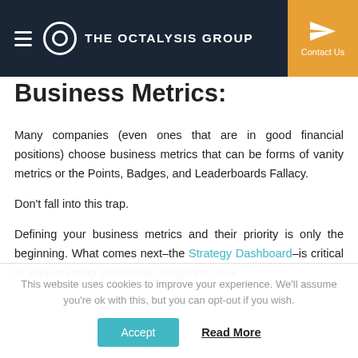THE OCTALYSIS GROUP | Contact Us
Business Metrics:
Many companies (even ones that are in good financial positions) choose business metrics that can be forms of vanity metrics or the Points, Badges, and Leaderboards Fallacy.
Don't fall into this trap.
Defining your business metrics and their priority is only the beginning. What comes next–the Strategy Dashboard–is critical to implementing behavioral design into your
This website uses cookies to improve your experience. We'll assume you're ok with this, but you can opt-out if you wish.
Accept  Read More